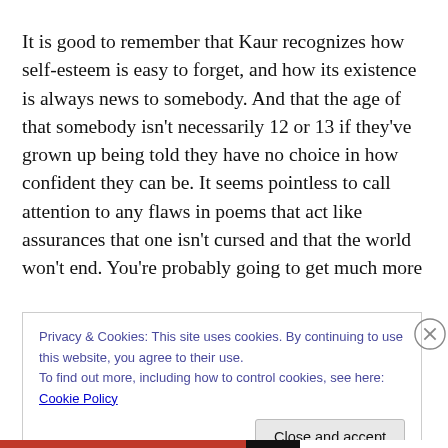It is good to remember that Kaur recognizes how self-esteem is easy to forget, and how its existence is always news to somebody. And that the age of that somebody isn't necessarily 12 or 13 if they've grown up being told they have no choice in how confident they can be. It seems pointless to call attention to any flaws in poems that act like assurances that one isn't cursed and that the world won't end. You're probably going to get much more
Privacy & Cookies: This site uses cookies. By continuing to use this website, you agree to their use.
To find out more, including how to control cookies, see here: Cookie Policy
Close and accept